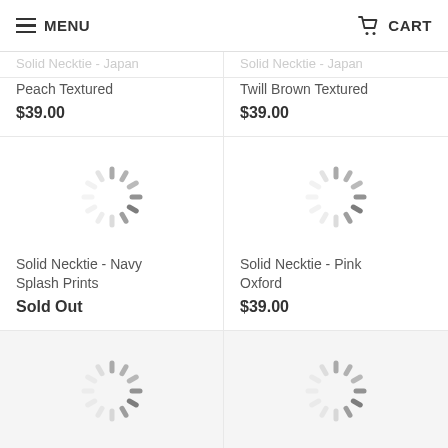MENU | CART
Solid Necktie - Japan (faded top crop)
Solid Necktie - Japan (faded top crop)
Peach Textured
$39.00
Twill Brown Textured
$39.00
[Figure (illustration): Loading spinner icon (circular dashed spinner graphic)]
Solid Necktie - Navy Splash Prints
Sold Out
[Figure (illustration): Loading spinner icon (circular dashed spinner graphic)]
Solid Necktie - Pink Oxford
$39.00
[Figure (illustration): Loading spinner icon (circular dashed spinner graphic)]
Striped Necktie - Japan Bengal Stripes
from $19.00
[Figure (illustration): Loading spinner icon (circular dashed spinner graphic)]
Striped Necktie - Japan Blue Stripes
$39.00